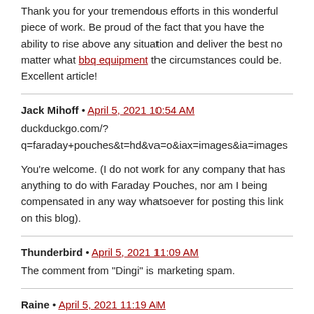Thank you for your tremendous efforts in this wonderful piece of work. Be proud of the fact that you have the ability to rise above any situation and deliver the best no matter what bbq equipment the circumstances could be. Excellent article!
Jack Mihoff • April 5, 2021 10:54 AM
duckduckgo.com/?q=faraday+pouches&t=hd&va=o&iax=images&ia=images
You're welcome. (I do not work for any company that has anything to do with Faraday Pouches, nor am I being compensated in any way whatsoever for posting this link on this blog).
Thunderbird • April 5, 2021 11:09 AM
The comment from "Dingi" is marketing spam.
Raine • April 5, 2021 11:19 AM
@Bruce, @Moderator,